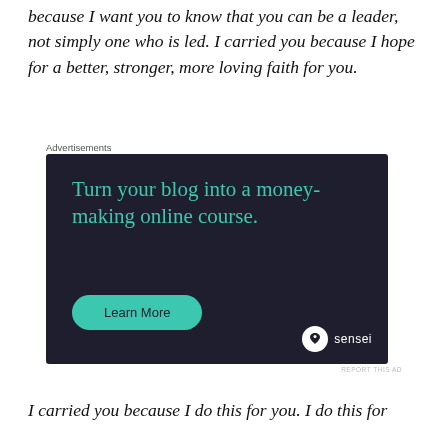because I want you to know that you can be a leader, not simply one who is led. I carried you because I hope for a better, stronger, more loving faith for you.
Advertisements
[Figure (other): Advertisement banner for Sensei with dark navy background. Headline reads 'Turn your blog into a money-making online course.' in teal text. A teal rounded button says 'Learn More'. Sensei logo at bottom right with circular tree icon and 'sensei' text in white.]
REPORT THIS AD
I carried you because I do this for you. I do this for